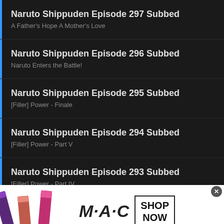Naruto Shippuden Episode 297 Subbed
A Father's Hope A Mother's Love
Naruto Shippuden Episode 296 Subbed
Naruto Enters the Battle!
Naruto Shippuden Episode 295 Subbed
[Filler] Power - Finale
Naruto Shippuden Episode 294 Subbed
[Filler] Power - Part V
Naruto Shippuden Episode 293 Subbed
[Filler] Power - Part IV
Naruto Shippuden Episode 292 Subbed
[Figure (screenshot): MAC Cosmetics advertisement banner with lipsticks in purple, peach, pink and red colors, MAC logo, and SHOP NOW button]